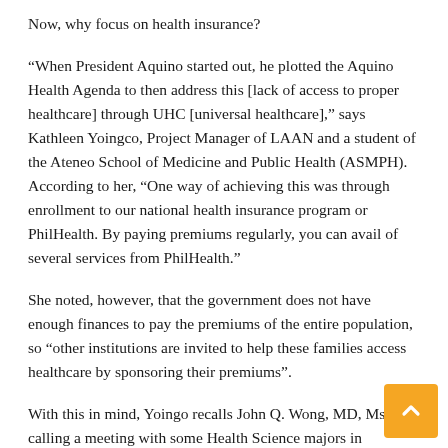Now, why focus on health insurance?
“When President Aquino started out, he plotted the Aquino Health Agenda to then address this [lack of access to proper healthcare] through UHC [universal healthcare],” says Kathleen Yoingco, Project Manager of LAAN and a student of the Ateneo School of Medicine and Public Health (ASMPH). According to her, “One way of achieving this was through enrollment to our national health insurance program or PhilHealth. By paying premiums regularly, you can avail of several services from PhilHealth.”
She noted, however, that the government does not have enough finances to pay the premiums of the entire population, so “other institutions are invited to help these families access healthcare by sponsoring their premiums”.
With this in mind, Yoingo recalls John Q. Wong, MD, Msc., calling a meeting with some Health Science majors in February 2011 and suggesting the idea of sponsoring PhilHealth coverage to indigent communities. Wong is a clinician, epidemiologist, and faculty m— in both the Health Sciences Program and ASMPH. “He is also our very